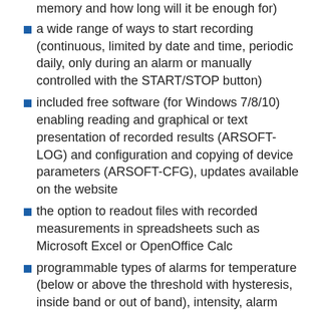memory and how long will it be enough for)
a wide range of ways to start recording (continuous, limited by date and time, periodic daily, only during an alarm or manually controlled with the START/STOP button)
included free software (for Windows 7/8/10) enabling reading and graphical or text presentation of recorded results (ARSOFT-LOG) and configuration and copying of device parameters (ARSOFT-CFG), updates available on the website
the option to readout files with recorded measurements in spreadsheets such as Microsoft Excel or OpenOffice Calc
programmable types of alarms for temperature (below or above the threshold with hysteresis, inside band or out of band), intensity, alarm memory and time of insensitivity after resetting alarms memory